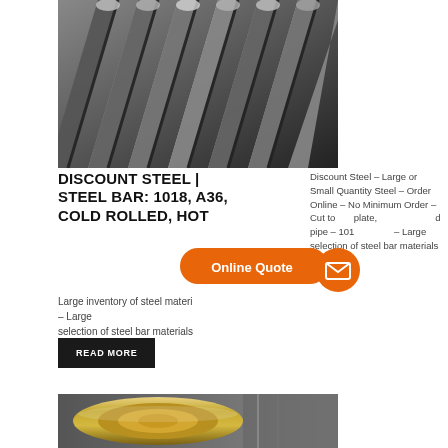[Figure (photo): Stack of steel bars/rods viewed from the end, showing metallic grey hexagonal/square cross-sections]
DISCOUNT STEEL | STEEL BAR: 1018, A36, COLD ROLLED, HOT
Discount Steel – Large or Small Quantity Steel – Order Online – No Minimum Order – Cut to plate, pipe – 101 – Large selection of steel bar materials
Large inventory of steel materials – Large selection of steel bar materials
[Figure (infographic): Orange rounded rectangle button with text 'Online Quote' and an arrow pointing right]
[Figure (infographic): Orange circle button with white envelope/mail icon]
READ MORE
[Figure (photo): Gold/yellow metallic coil or roll of steel sheet material]